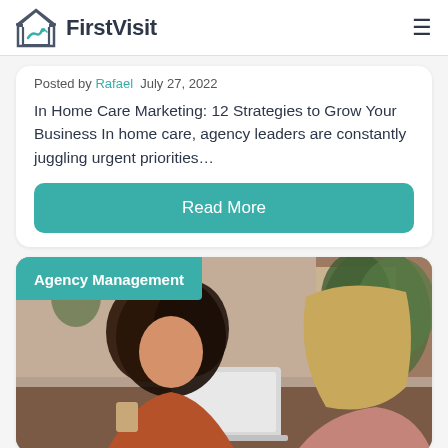FirstVisit
Posted by Rafael  July 27, 2022
In Home Care Marketing: 12 Strategies to Grow Your Business In home care, agency leaders are constantly juggling urgent priorities…
Read More
Agency Management
[Figure (photo): Two women sitting at a table in a cafe or office setting, one with curly dark hair wearing a rust-colored top, the other with long blonde hair, with a laptop on the table and plants in the background]